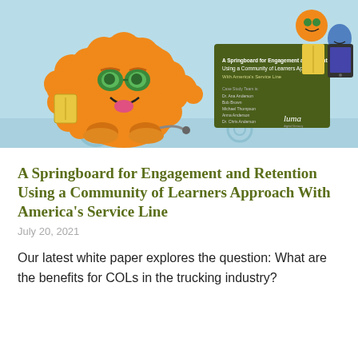[Figure (illustration): Illustrated cover image showing a large fluffy orange cartoon monster character holding a book, with smaller monster characters and a tablet/book in the background on a light blue background. A green book/report cover is visible with the title 'A Springboard for Engagement and Retention Using a Community of Learners Approach With America's Service Line' and the Luma logo.]
A Springboard for Engagement and Retention Using a Community of Learners Approach With America's Service Line
July 20, 2021
Our latest white paper explores the question: What are the benefits for COLs in the trucking industry?